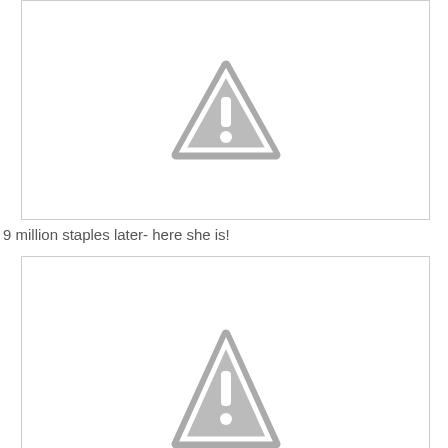[Figure (illustration): Warning triangle icon (gray) with exclamation mark inside, displayed in a white bordered box. Image is a placeholder/broken image icon.]
9 million staples later- here she is!
[Figure (illustration): Warning triangle icon (gray) with exclamation mark inside, partially visible at the bottom, displayed in a white bordered box. Image is a placeholder/broken image icon.]